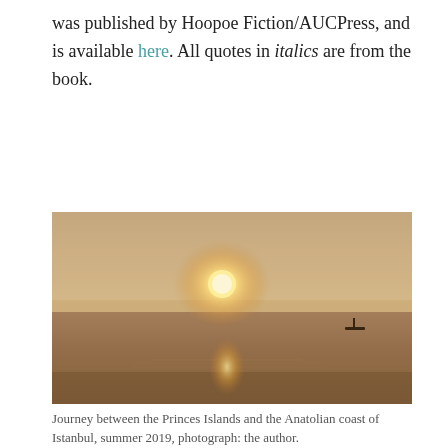was published by Hoopoe Fiction/AUCPress, and is available here. All quotes in italics are from the book.
[Figure (photo): Hazy seascape at sunset showing the sun low in the sky reflected on calm water, with a small silhouette of a boat visible on the right side. Journey between the Princes Islands and the Anatolian coast of Istanbul, summer 2019.]
Journey between the Princes Islands and the Anatolian coast of Istanbul, summer 2019, photograph: the author.